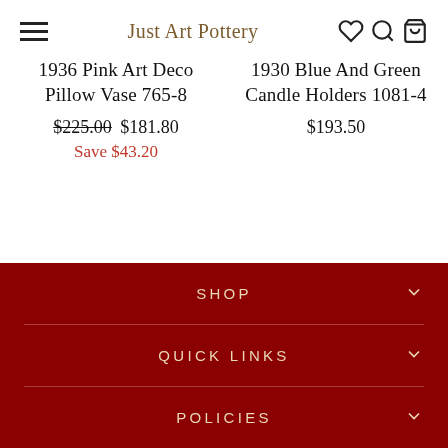Just Art Pottery
1936 Pink Art Deco Pillow Vase 765-8
$225.00 $181.80
Save $43.20
1930 Blue And Green Candle Holders 1081-4
$193.50
SHOP
QUICK LINKS
POLICIES